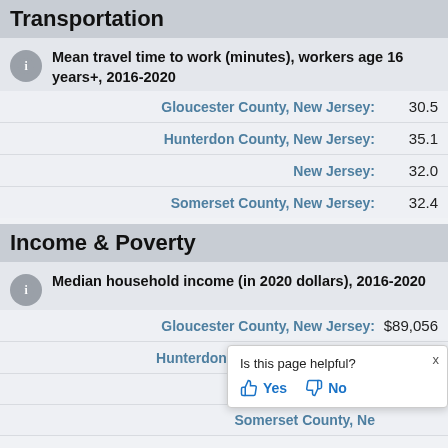Transportation
Mean travel time to work (minutes), workers age 16 years+, 2016-2020
| Geography | Value |
| --- | --- |
| Gloucester County, New Jersey: | 30.5 |
| Hunterdon County, New Jersey: | 35.1 |
| New Jersey: | 32.0 |
| Somerset County, New Jersey: | 32.4 |
Income & Poverty
Median household income (in 2020 dollars), 2016-2020
| Geography | Value |
| --- | --- |
| Gloucester County, New Jersey: | $89,056 |
| Hunterdon County, New Jersey: | $117,858 |
| New Jersey: | (partially obscured) |
| Somerset County, New Jersey: | (partially obscured) |